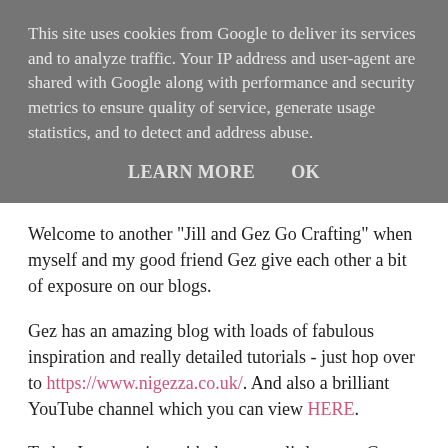This site uses cookies from Google to deliver its services and to analyze traffic. Your IP address and user-agent are shared with Google along with performance and security metrics to ensure quality of service, generate usage statistics, and to detect and address abuse.
LEARN MORE    OK
Welcome to another "Jill and Gez Go Crafting" when myself and my good friend Gez give each other a bit of exposure on our blogs.
Gez has an amazing blog with loads of fabulous inspiration and really detailed tutorials - just hop over to https://www.nigezza.co.uk/. And also a brilliant YouTube channel which you can view HERE.
Today I am starting with these cute little treats Gez has made containing a Ferrera Kusschen nuggets. They would make great table favours!